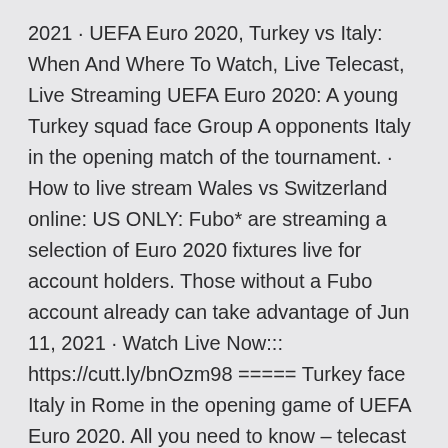2021 · UEFA Euro 2020, Turkey vs Italy: When And Where To Watch, Live Telecast, Live Streaming UEFA Euro 2020: A young Turkey squad face Group A opponents Italy in the opening match of the tournament. · How to live stream Wales vs Switzerland online: US ONLY: Fubo* are streaming a selection of Euro 2020 fixtures live for account holders. Those without a Fubo account already can take advantage of Jun 11, 2021 · Watch Live Now::: https://cutt.ly/bnOzm98 ===== Turkey face Italy in Rome in the opening game of UEFA Euro 2020. All you need to know – telecast and streaming details, kick-off time, likely XIs, match preview.
Does it bother you when work or other events crop up causing you to miss episodes? You're not alone and, for that reason, it's possible to watch anytime. Follow these